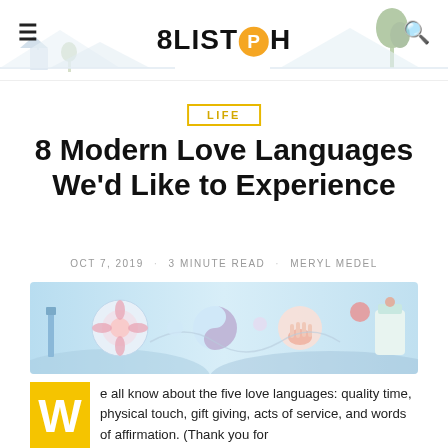8LIST PH
LIFE
8 Modern Love Languages We'd Like to Experience
OCT 7, 2019 · 3 MINUTE READ · MERYL MEDEL
[Figure (illustration): Decorative hero banner with pastel blue background showing abstract circular designs, hands, and colorful geometric shapes]
We all know about the five love languages: quality time, physical touch, gift giving, acts of service, and words of affirmation. (Thank you for defining all these, Dr. Gary Chapman.)  And fine, maybe we can put everything else under each one, but where's the fun